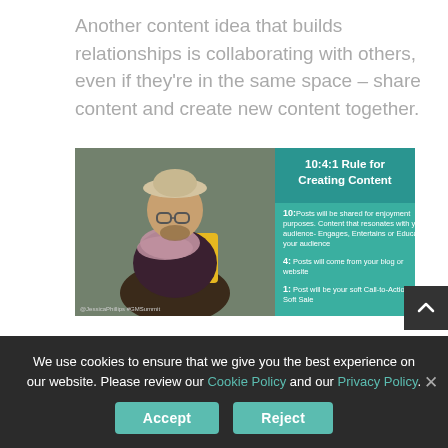Another content idea that builds relationships is collaborating with others, even if they're in the same space – share content and create new content together.
[Figure (infographic): Infographic showing the 10:4:1 Rule for Creating Content. Person with hat and scarf on the left. Right side teal header reads '10:4:1 Rule for Creating Content'. Below: '10: Posts will be shared for enjoyment purposes. Content that resonates with your audience- Engages, Entertains or Educates your audience', '4: Posts will come from your blog or website', '1: Post will be your soft Call-to-Action or Soft Sale'. Small text at bottom: @JessicaPhillips #GMSummit]
We use cookies to ensure that we give you the best experience on our website. Please review our Cookie Policy and our Privacy Policy.